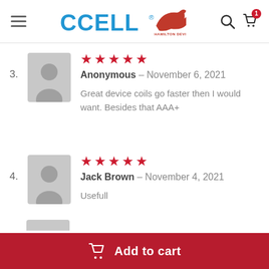CCELL Hamilton Devices — navigation header with search and cart icons
3. Anonymous — November 6, 2021 | 5 stars | Great device coils go faster then I would want. Besides that AAA+
4. Jack Brown — November 4, 2021 | 5 stars | Usefull
Add to cart